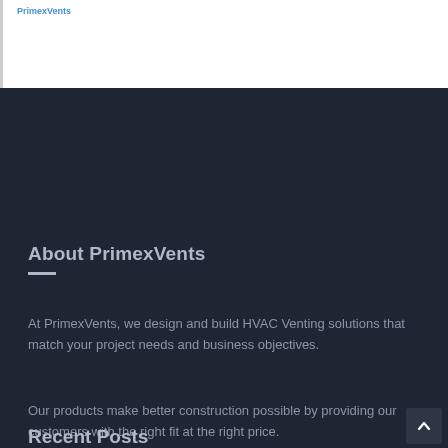PrimexVents
About PrimexVents
At PrimexVents, we design and build HVAC Venting solutions that match your project needs and business objectives.
Our products make better construction possible by providing our customers with the right fit at the right price.
Recent Posts